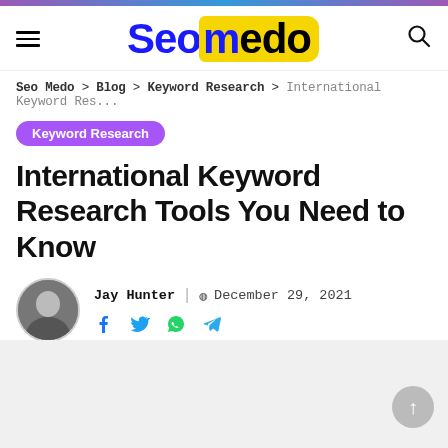Seomedo
Seo Medo > Blog > Keyword Research > International Keyword Res...
Keyword Research
International Keyword Research Tools You Need to Know
Jay Hunter | December 29, 2021